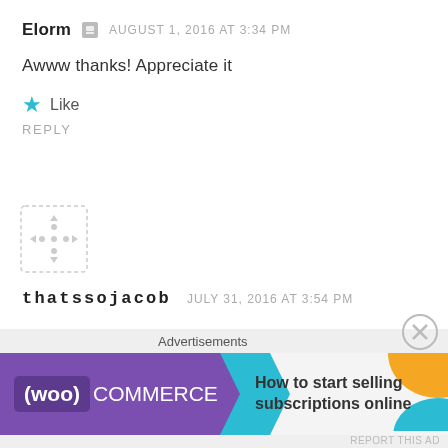Elorm  AUGUST 1, 2016 AT 3:34 PM
Awww thanks! Appreciate it
★ Like
REPLY
[Figure (other): Avatar placeholder icon (grey dotted outline)]
thatssojacob  JULY 31, 2016 AT 3:54 PM
Wonderful looks! Great post! I haven't had many visitors today…come visit?
[Figure (other): WooCommerce advertisement banner: 'How to start selling subscriptions online']